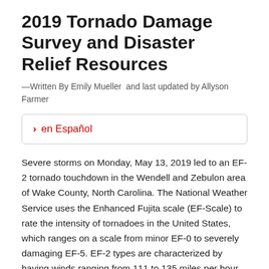2019 Tornado Damage Survey and Disaster Relief Resources
—Written By Emily Mueller  and last updated by Allyson Farmer
en Español
Severe storms on Monday, May 13, 2019 led to an EF-2 tornado touchdown in the Wendell and Zebulon area of Wake County, North Carolina. The National Weather Service uses the Enhanced Fujita scale (EF-Scale) to rate the intensity of tornadoes in the United States, which ranges on a scale from minor EF-0 to severely damaging EF-5. EF-2 types are characterized by having winds ranging from 111 to 135 miles per hour and